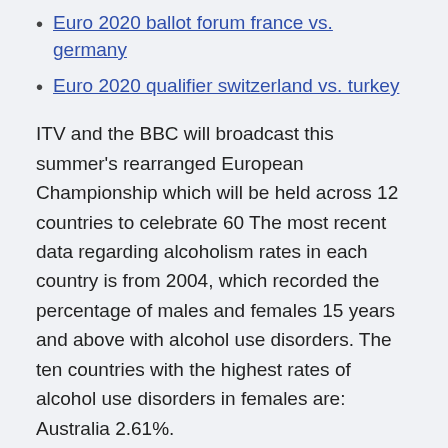Euro 2020 ballot forum france vs. germany
Euro 2020 qualifier switzerland vs. turkey
ITV and the BBC will broadcast this summer's rearranged European Championship which will be held across 12 countries to celebrate 60 The most recent data regarding alcoholism rates in each country is from 2004, which recorded the percentage of males and females 15 years and above with alcohol use disorders. The ten countries with the highest rates of alcohol use disorders in females are: Australia 2.61%.